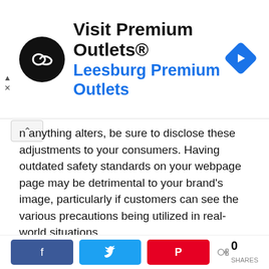[Figure (other): Advertisement banner for Visit Premium Outlets® — Leesburg Premium Outlets, with circular black logo with arrow icon and blue right-arrow diamond icon on the right.]
n anything alters, be sure to disclose these adjustments to your consumers. Having outdated safety standards on your webpage page may be detrimental to your brand's image, particularly if customers can see the various precautions being utilized in real-world situations.
Conclusion
After everything is said and done, the only certain method of ensuring food safety throughout cooking to transportation is to provide your clients with in-house
[Figure (other): Social share bar with Facebook (blue), Twitter (blue), Pinterest (red) buttons and a share count of 0 SHARES.]